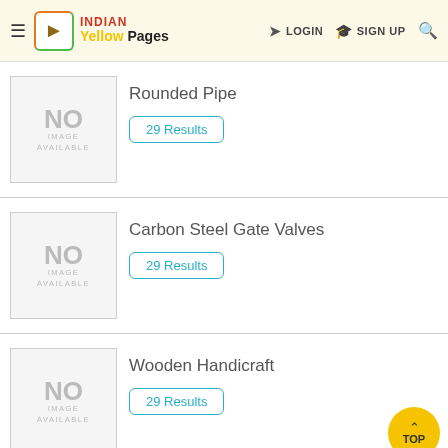INDIAN Yellow Pages | LOGIN | SIGN UP
Rounded Pipe — 29 Results
Carbon Steel Gate Valves — 29 Results
Wooden Handicraft — 29 Results